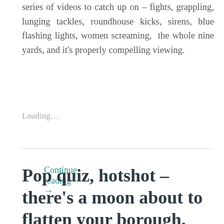series of videos to catch up on – fights, grappling, lunging tackles, roundhouse kicks, sirens, blue flashing lights, women screaming, the whole nine yards, and it's properly compelling viewing.
Continue reading →
Loading...
Pop quiz, hotshot – there's a moon about to flatten your borough. What do you do?